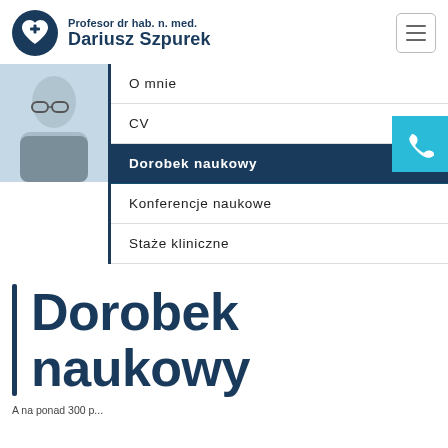Profesor dr hab. n. med. Dariusz Szpurek
O mnie
CV
Dorobek naukowy
Konferencje naukowe
Staże kliniczne
Dorobek naukowy